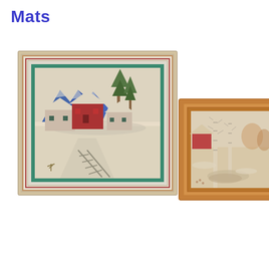Mats
[Figure (photo): Two framed textile/hooked rug artworks depicting winter scenes. Left: a larger piece in a white and red frame with a green mat, showing a winter village with red barn, snow-covered houses, blue mountains, trees, and a fence in the foreground. Right: a smaller piece in a natural wood frame showing a winter landscape with birch trees, a red barn, and a stream, signed 'B' in the lower right corner.]